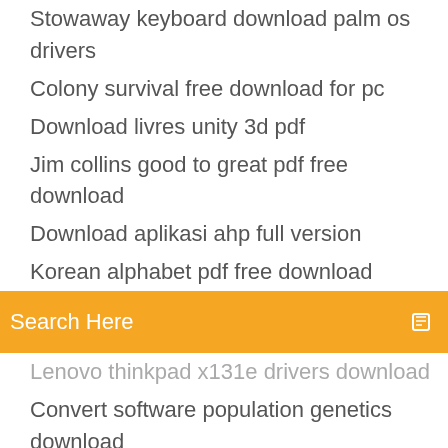Stowaway keyboard download palm os drivers
Colony survival free download for pc
Download livres unity 3d pdf
Jim collins good to great pdf free download
Download aplikasi ahp full version
Korean alphabet pdf free download
Search Here
Lenovo thinkpad x131e drivers download
Convert software population genetics download
Project downloaded does not open project files xcode
Ravenfield 5 gun mods download
Beboncool controller driver download windows 10
Godzilla vs spacegodzilla japanese version download
Swann pc dvr-4-net software download
Razer naga driver download for ps4
Ps4 usa fake pkg downloads
Google app pc download windows 10
Framer for full movie free download mp4